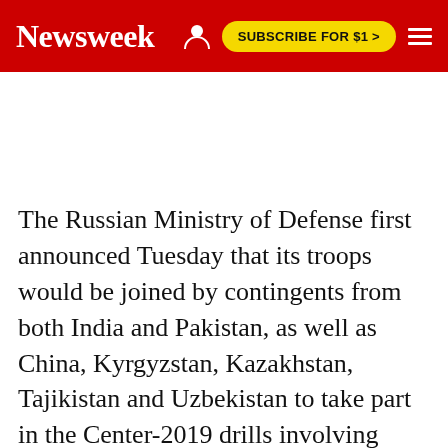Newsweek | SUBSCRIBE FOR $1 >
The Russian Ministry of Defense first announced Tuesday that its troops would be joined by contingents from both India and Pakistan, as well as China, Kyrgyzstan, Kazakhstan, Tajikistan and Uzbekistan to take part in the Center-2019 drills involving "around 128,000 servicemen, over 20,000 units and weapons and military hardware, around 600